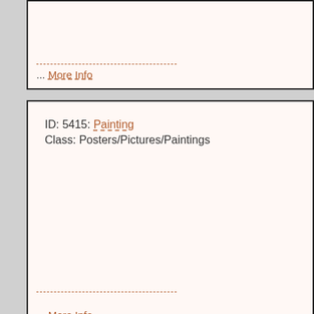... More Info
ID: 5415: Painting
Class: Posters/Pictures/Paintings
... More Info
ID: 5414: Banner
Class: Pennants/Ornamentations
... More Info
ID: 5413: Banner
Class: Pennants/Ornamentations